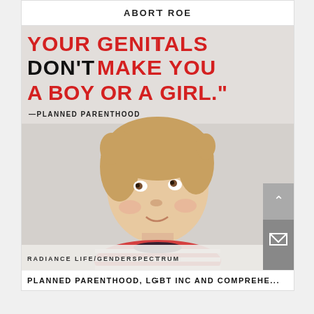ABORT ROE
[Figure (photo): A photo of a young blonde girl with pigtails wearing a red and white striped shirt, looking upward with a quizzical expression. Overlaid text reads: 'YOUR GENITALS DON'T MAKE YOU A BOY OR A GIRL.' —PLANNED PARENTHOOD. Bottom of image reads: RADIANCE LIFE/GENDERSPECTRUM]
PLANNED PARENTHOOD, LGBT INC AND COMPREHE...